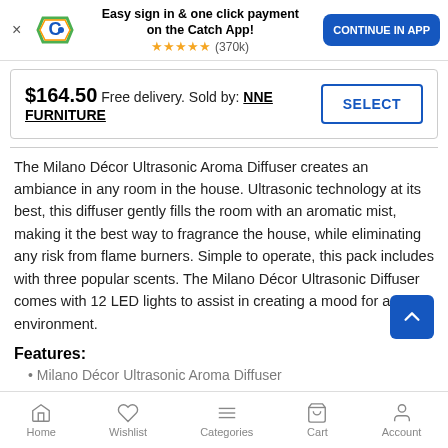[Figure (screenshot): Catch app banner with logo, star rating, and 'Continue in App' button]
$164.50 Free delivery. Sold by: NNE FURNITURE
The Milano Décor Ultrasonic Aroma Diffuser creates an ambiance in any room in the house. Ultrasonic technology at its best, this diffuser gently fills the room with an aromatic mist, making it the best way to fragrance the house, while eliminating any risk from flame burners. Simple to operate, this pack includes with three popular scents. The Milano Décor Ultrasonic Diffuser comes with 12 LED lights to assist in creating a mood for any environment.
Features:
Milano Décor Ultrasonic Aroma Diffuser
Home  Wishlist  Categories  Cart  Account